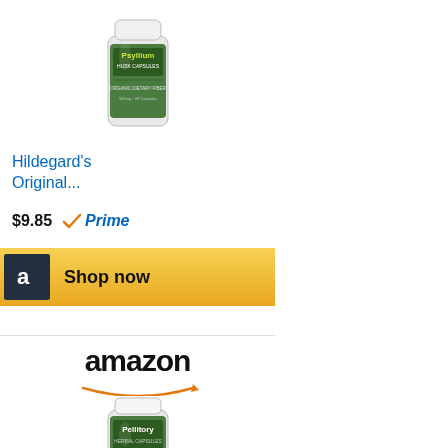[Figure (photo): Psyllium supplement bottle with green label]
Hildegard's Original...
$9.85 ✓Prime
[Figure (logo): Amazon Shop now button]
[Figure (logo): Amazon logo with arrow]
[Figure (photo): Pellitory supplement bottle with green label]
Hildegard's Original...
$13.45 ✓Prime
[Figure (logo): Amazon Shop now button]
[Figure (logo): Amazon logo with arrow (partial, bottom of page)]